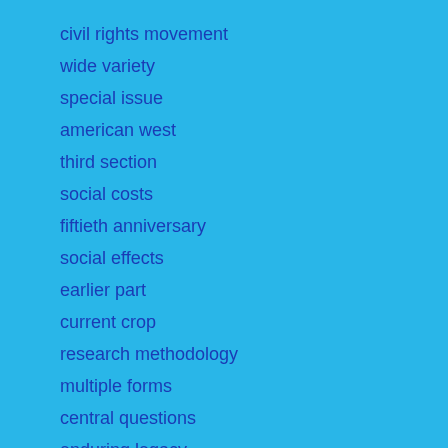civil rights movement
wide variety
special issue
american west
third section
social costs
fiftieth anniversary
social effects
earlier part
current crop
research methodology
multiple forms
central questions
enduring legacy